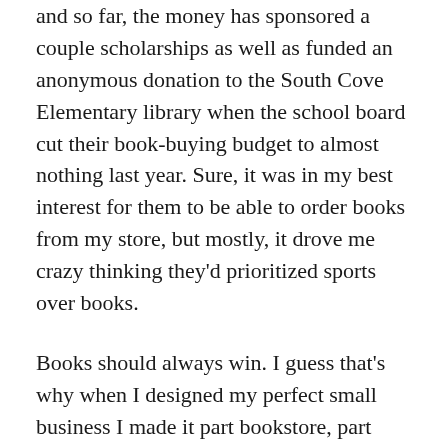and so far, the money has sponsored a couple scholarships as well as funded an anonymous donation to the South Cove Elementary library when the school board cut their book-buying budget to almost nothing last year. Sure, it was in my best interest for them to be able to order books from my store, but mostly, it drove me crazy thinking they'd prioritized sports over books.
Books should always win. I guess that's why when I designed my perfect small business I made it part bookstore, part coffee shop. The idea was genius and I've never regretted it.
Strolling towards home, I thought how lucky I was to be able to walk to work. No fighting traffic, no crazy drivers, and no paying for parking. When I worked in the city, my monthly parking bill was as large as some people's daycare budget. Here, my new Jeep didn't even leave the garage most days. I watched as a tour bus unloaded passengers in front of The Train Station. Good thing we'd eaten early, Diamond Lille's would be packed in about ten